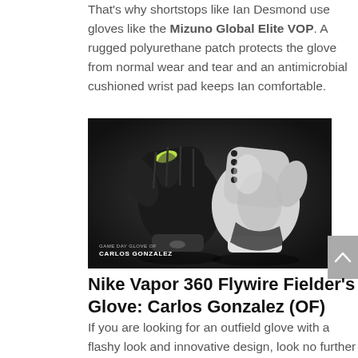That's why shortstops like Ian Desmond use gloves like the Mizuno Global Elite VOP. A rugged polyurethane patch protects the glove from normal wear and tear and an antimicrobial cushioned wrist pad keeps Ian comfortable.
[Figure (photo): Photo of two baseball fielder's gloves — a black glove on the left and a white/gray glove on the right — displayed against a dark background. Bottom-left text reads 'GAME DAY GLOVE OF CARLOS GONZALEZ'.]
Nike Vapor 360 Flywire Fielder's Glove: Carlos Gonzalez (OF)
If you are looking for an outfield glove with a flashy look and innovative design, look no further than the Nike Vapor 360 Flywire. Worn by Colorado's Carlos Gonzalez, a three-time Gold Glove winner, this glove backs up its